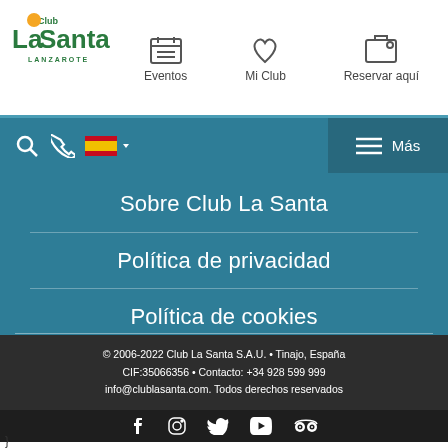[Figure (logo): Club La Santa Lanzarote logo with green text and orange dot]
Eventos | Mi Club | Reservar aquí
[Figure (infographic): Navigation bar with search, phone, Spanish flag, hamburger menu and Más label]
Sobre Club La Santa
Política de privacidad
Política de cookies
© 2006-2022 Club La Santa S.A.U. • Tinajo, España CIF:35066356 • Contacto: +34 928 599 999 info@clublasanta.com. Todos derechos reservados
[Figure (infographic): Social media icons: Facebook, Instagram, Twitter, YouTube, TripAdvisor]
}